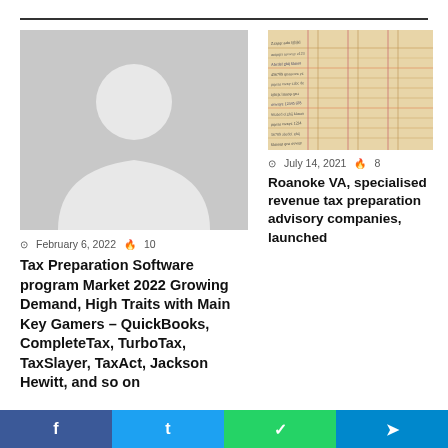[Figure (photo): Grey placeholder avatar silhouette image]
February 6, 2022  🔥 10
Tax Preparation Software program Market 2022 Growing Demand, High Traits with Main Key Gamers – QuickBooks, CompleteTax, TurboTax, TaxSlayer, TaxAct, Jackson Hewitt, and so on
[Figure (photo): Photo of a handwritten financial ledger with columns and rows of handwritten numbers]
July 14, 2021  🔥 8
Roanoke VA, specialised revenue tax preparation advisory companies, launched
f  t  WhatsApp  Telegram